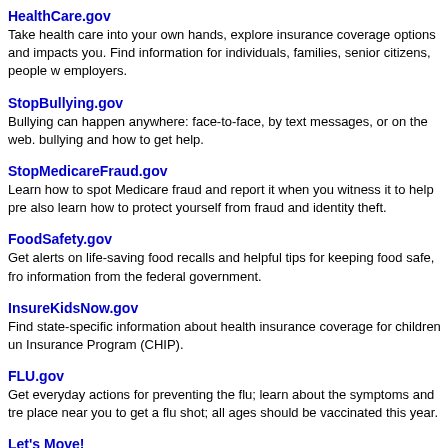HealthCare.gov
Take health care into your own hands, explore insurance coverage options and impacts you. Find information for individuals, families, senior citizens, people w employers.
StopBullying.gov
Bullying can happen anywhere: face-to-face, by text messages, or on the web. bullying and how to get help.
StopMedicareFraud.gov
Learn how to spot Medicare fraud and report it when you witness it to help pre also learn how to protect yourself from fraud and identity theft.
FoodSafety.gov
Get alerts on life-saving food recalls and helpful tips for keeping food safe, fro information from the federal government.
InsureKidsNow.gov
Find state-specific information about health insurance coverage for children un Insurance Program (CHIP).
FLU.gov
Get everyday actions for preventing the flu; learn about the symptoms and tre place near you to get a flu shot; all ages should be vaccinated this year.
Let's Move!
Join America's move to raise a healthier generation of kids. Learn the facts ab activity and nutrition.